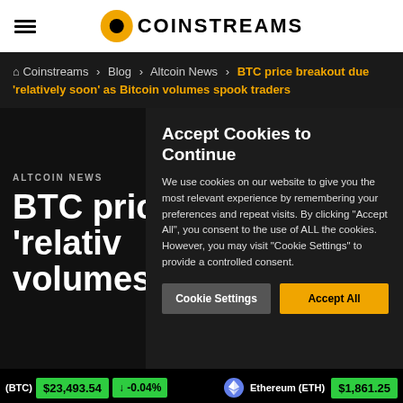Coinstreams
Coinstreams > Blog > Altcoin News > BTC price breakout due 'relatively soon' as Bitcoin volumes spook traders
ALTCOIN NEWS
BTC price breakout 'relatively soon' as Bitcoin volumes spook traders
Accept Cookies to Continue
We use cookies on our website to give you the most relevant experience by remembering your preferences and repeat visits. By clicking "Accept All", you consent to the use of ALL the cookies. However, you may visit "Cookie Settings" to provide a controlled consent.
Cookie Settings | Accept All
Bitcoin (BTC) $23,493.54 ↓ -0.04%   Ethereum (ETH) $1,861.25